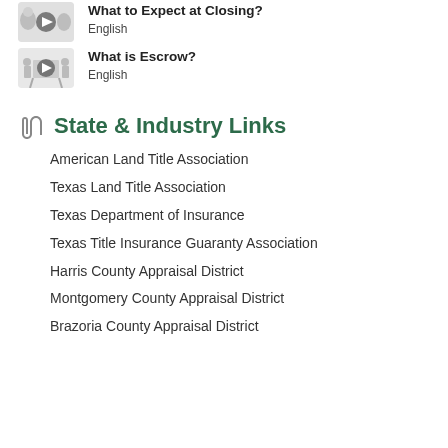[Figure (illustration): Video thumbnail showing cartoon characters with a play button - What to Expect at Closing]
What to Expect at Closing?
English
[Figure (illustration): Video thumbnail showing cartoon characters holding a sign with a play button - What is Escrow?]
What is Escrow?
English
State & Industry Links
American Land Title Association
Texas Land Title Association
Texas Department of Insurance
Texas Title Insurance Guaranty Association
Harris County Appraisal District
Montgomery County Appraisal District
Brazoria County Appraisal District